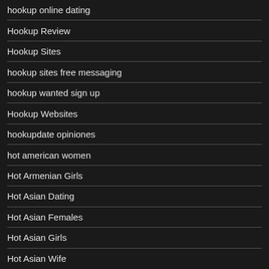hookup online dating
Hookup Review
Hookup Sites
hookup sites free messaging
hookup wanted sign up
Hookup Websites
hookupdate opiniones
hot american women
Hot Armenian Girls
Hot Asian Dating
Hot Asian Females
Hot Asian Girls
Hot Asian Wife